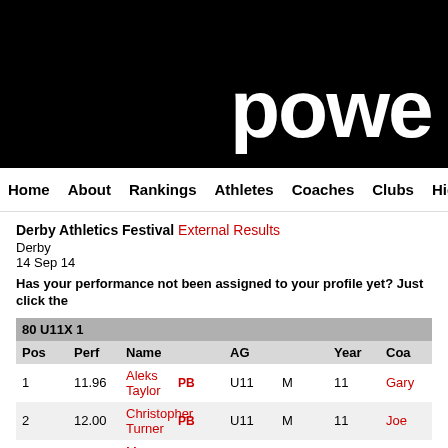[Figure (logo): Power of 10 website logo — white text 'powe' on black background (cropped)]
Home  About  Rankings  Athletes  Coaches  Clubs  Highlights
Derby Athletics Festival External Results
Derby
14 Sep 14
Has your performance not been assigned to your profile yet? Just click the
| Pos | Perf | Name |  | AG |  | Year | Coa |
| --- | --- | --- | --- | --- | --- | --- | --- |
| 80 U11X 1 |  |  |  |  |  |  |  |
| Pos | Perf | Name |  | AG |  | Year | Coa |
| 1 | 11.96 | Aleks Taylor | PB | U11 | M | 11 | Gary |
| 2 | 12.00 | Christopher Turner | PB | U11 | M | 11 | Joe |
| 3 | 12.45 | Max Bishop |  | U11 | M | 10 | Paul |
| 4 | 13.55 | Simon Ram |  | U11 | M | 11 |  |
| 80 U11X 2 |  |  |  |  |  |  |  |
| Pos | Perf | Name |  | AG |  | Year | Coa |
| 1 | 12.52 | Charlie Yates |  | U11 | W | 11 |  |